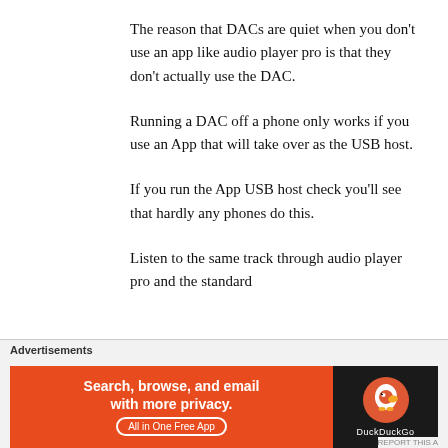The reason that DACs are quiet when you don't use an app like audio player pro is that they don't actually use the DAC.
Running a DAC off a phone only works if you use an App that will take over as the USB host.
If you run the App USB host check you'll see that hardly any phones do this.
Listen to the same track through audio player pro and the standard
Advertisements
[Figure (infographic): DuckDuckGo advertisement banner: orange section on left reading 'Search, browse, and email with more privacy. All in One Free App' with DuckDuckGo logo on dark right section.]